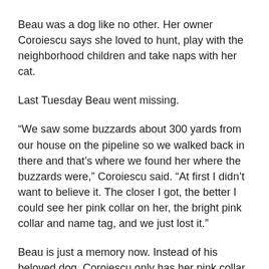Beau was a dog like no other. Her owner Coroiescu says she loved to hunt, play with the neighborhood children and take naps with her cat.
Last Tuesday Beau went missing.
“We saw some buzzards about 300 yards from our house on the pipeline so we walked back in there and that’s where we found her where the buzzards were,” Coroiescu said. “At first I didn’t want to believe it. The closer I got, the better I could see her pink collar on her, the bright pink collar and name tag, and we just lost it.”
Beau is just a memory now. Instead of his beloved dog, Coroiescu only has her pink collar, the spot in the backyard where she’s buried and a hole in his heart.